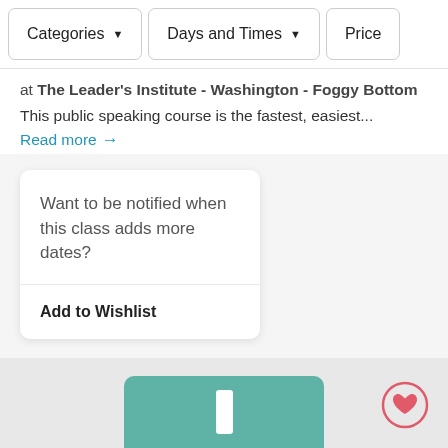Categories   Days and Times   Price
at The Leader's Institute - Washington - Foggy Bottom
This public speaking course is the fastest, easiest...
Read more →
Want to be notified when this class adds more dates?
Add to Wishlist
[Figure (screenshot): Teal colored card with a white vertical bar, and a heart icon button on the right side]